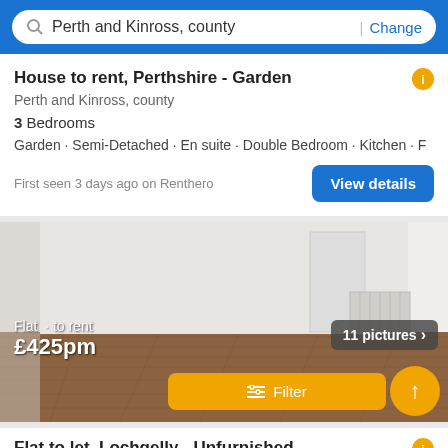Perth and Kinross, county | Change
House to rent, Perthshire - Garden
Perth and Kinross, county
3 Bedrooms
Garden · Semi-Detached · En suite · Double Bedroom · Kitchen · F
First seen 3 days ago on Renthero
[Figure (photo): Empty room with white walls and wooden laminate flooring, showing a radiator on the wall. Overlay text shows '11 pictures >', 'Flat · to rent', '£425pm', and a yellow Filter button.]
Flat to let, Lochgelly - Unfurnished